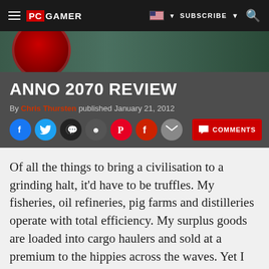PC GAMER | SUBSCRIBE
[Figure (screenshot): Hero image strip showing a dark green background with a red circular emblem on the left]
ANNO 2070 REVIEW
By Chris Thursten published January 21, 2012
Social sharing icons: Facebook, Twitter, WhatsApp, Reddit, Pinterest, Flipboard, Email | COMMENTS
Of all the things to bring a civilisation to a grinding halt, it'd have to be truffles. My fisheries, oil refineries, pig farms and distilleries operate with total efficiency. My surplus goods are loaded into cargo haulers and sold at a premium to the hippies across the waves. Yet I can grow no further. If I want to expand to the